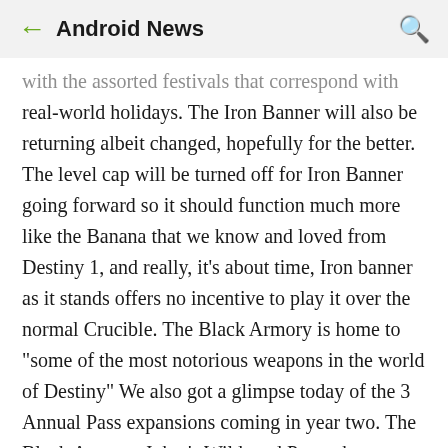← Android News 🔍
with the assorted festivals that correspond with real-world holidays. The Iron Banner will also be returning albeit changed, hopefully for the better. The level cap will be turned off for Iron Banner going forward so it should function much more like the Banana that we know and loved from Destiny 1, and really, it's about time, Iron banner as it stands offers no incentive to play it over the normal Crucible. The Black Armory is home to "some of the most notorious weapons in the world of Destiny" We also got a glimpse today of the 3 Annual Pass expansions coming in year two. The Black Armory, Joker's Wild, and Penumbra